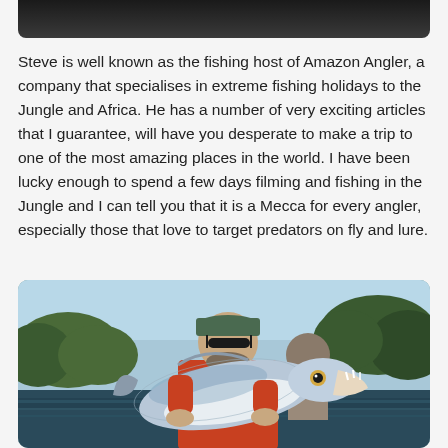[Figure (photo): Top portion of a dark/black image, partially cropped at the top of the page]
Steve is well known as the fishing host of Amazon Angler, a company that specialises in extreme fishing holidays to the Jungle and Africa. He has a number of very exciting articles that I guarantee, will have you desperate to make a trip to one of the most amazing places in the world. I have been lucky enough to spend a few days filming and fishing in the Jungle and I can tell you that it is a Mecca for every angler, especially those that love to target predators on fly and lure.
[Figure (photo): A man wearing sunglasses and a cap holding a large silver fish with big teeth (likely a payara or similar Amazon predator fish), with another person and a river with trees in the background]